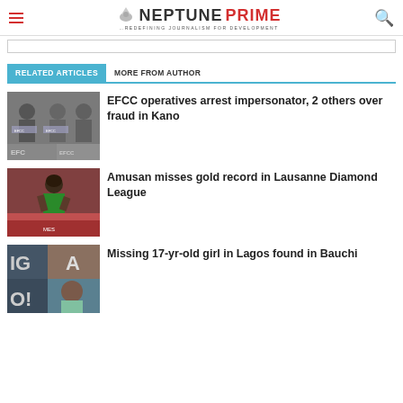NEPTUNE PRIME — REDEFINING JOURNALISM FOR DEVELOPMENT
RELATED ARTICLES | MORE FROM AUTHOR
[Figure (photo): Thumbnail photo of EFCC operatives with three men and EFCC vests]
EFCC operatives arrest impersonator, 2 others over fraud in Kano
[Figure (photo): Thumbnail photo of Amusan, a female athlete in green outfit]
Amusan misses gold record in Lausanne Diamond League
[Figure (photo): Thumbnail photo of a young girl with IGOA text visible]
Missing 17-yr-old girl in Lagos found in Bauchi